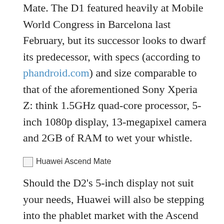Mate. The D1 featured heavily at Mobile World Congress in Barcelona last February, but its successor looks to dwarf its predecessor, with specs (according to phandroid.com) and size comparable to that of the aforementioned Sony Xperia Z: think 1.5GHz quad-core processor, 5-inch 1080p display, 13-megapixel camera and 2GB of RAM to wet your whistle.
[Figure (photo): Broken/missing image placeholder with alt text 'Huawei Ascend Mate']
Should the D2's 5-inch display not suit your needs, Huawei will also be stepping into the phablet market with the Ascend Mate: a premium tablet/phone